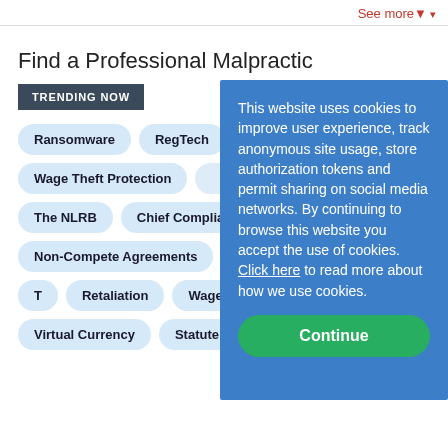See more
Find a Professional Malpractic
TRENDING NOW
Ransomware
RegTech
Wage Theft Protection
The NLRB
Chief Complia
Non-Compete Agreements
Patents
Title VII
T
Retaliation
Wage and H
Virtual Currency
Statute of Limitations
This website uses cookies to improve user experience, track anonymous site usage, store authorization tokens and permit sharing on social media networks. By continuing to browse this website you accept the use of cookies. Click here to read more about how we use cookies.